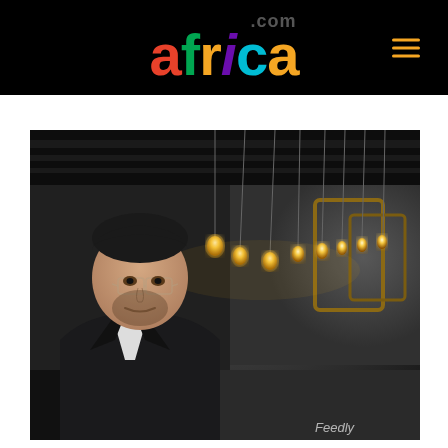africa.com
[Figure (photo): Professional headshot of a man in a dark blazer and white shirt, wearing glasses, with warm pendant lights and wooden frame decorations in the background in a modern interior setting. Watermark 'Feedly' visible in lower right.]